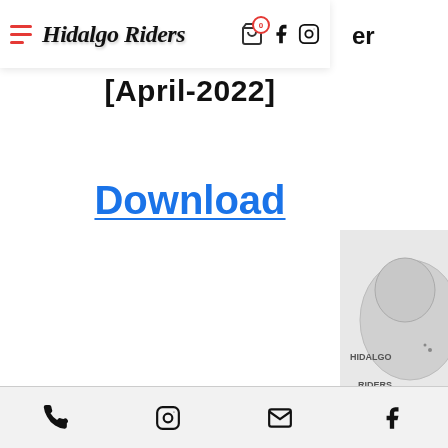Hidalgo Riders — navigation header with hamburger menu, logo, cart icon, Facebook, Instagram icons
[April-2022]
Download
[Figure (illustration): Hidalgo Riders mascot logo illustration partially visible at bottom right]
Checkbook Register
Footer bar with phone, Instagram, email, and Facebook icons